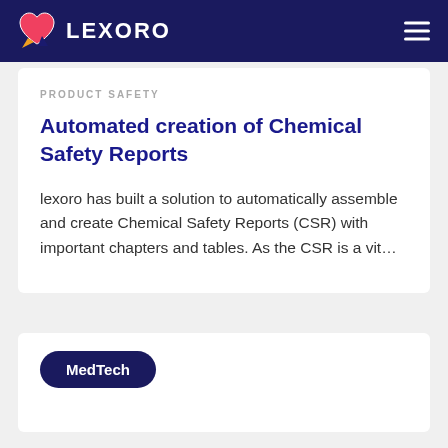LEXORO
PRODUCT SAFETY
Automated creation of Chemical Safety Reports
lexoro has built a solution to automatically assemble and create Chemical Safety Reports (CSR) with important chapters and tables. As the CSR is a vit...
MedTech